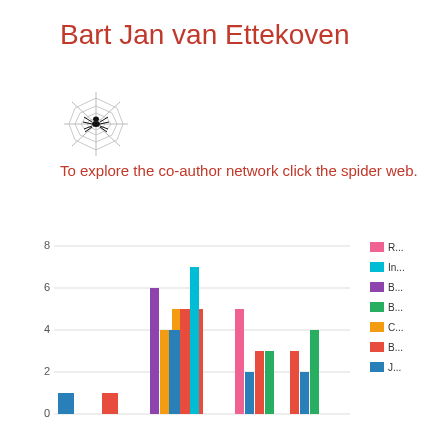Bart Jan van Ettekoven
To explore the co-author network click the spider web.
[Figure (bar-chart): ]